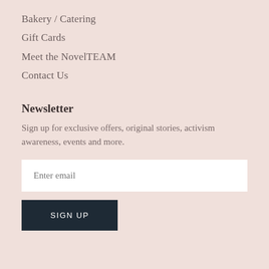Bakery / Catering
Gift Cards
Meet the NovelTEAM
Contact Us
Newsletter
Sign up for exclusive offers, original stories, activism awareness, events and more.